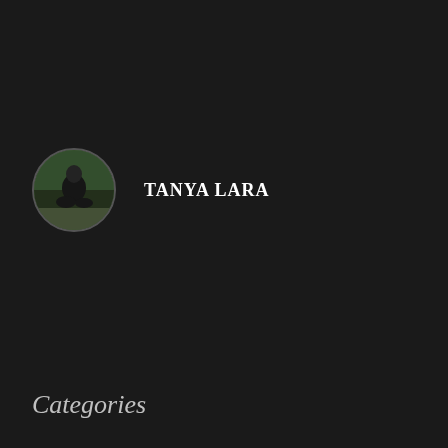[Figure (photo): Circular profile photo of a person dressed in dark clothing, sitting outdoors with greenery in the background.]
TANYA LARA
Categories